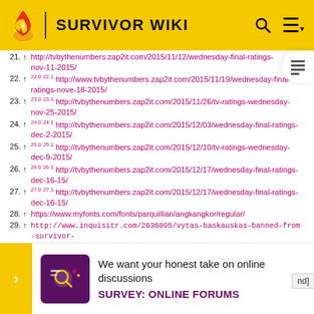SURVIVOR WIKI
21. ↑ http://tvbythenumbers.zap2it.com/2015/11/12/wednesday-final-ratings-nov-11-2015/
22. ↑ 22.0 22.1 http://www.tvbythenumbers.zap2it.com/2015/11/19/wednesday-final-ratings-nove-18-2015/
23. ↑ 23.0 23.1 http://tvbythenumbers.zap2it.com/2015/11/26/tv-ratings-wednesday-nov-25-2015/
24. ↑ 24.0 24.1 http://tvbythenumbers.zap2it.com/2015/12/03/wednesday-final-ratings-dec-2-2015/
25. ↑ 25.0 25.1 http://tvbythenumbers.zap2it.com/2015/12/10/tv-ratings-wednesday-dec-9-2015/
26. ↑ 26.0 26.1 http://tvbythenumbers.zap2it.com/2015/12/17/wednesday-final-ratings-dec-16-15/
27. ↑ 27.0 27.1 http://tvbythenumbers.zap2it.com/2015/12/17/wednesday-final-ratings-dec-16-15/
28. ↑ https://www.myfonts.com/fonts/parquillian/angkangkor/regular/
29. ↑ http://www.inquisitr.com/2636095/vytas-baskauskas-banned-from-survivor-cambodia-reunion-show-what-happened/
We want your honest take on online discussions
SURVEY: ONLINE FORUMS